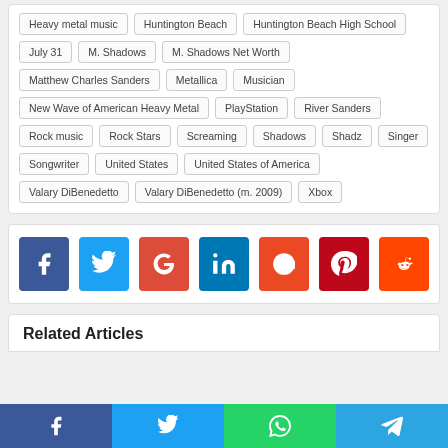Heavy metal music, Huntington Beach, Huntington Beach High School, July 31, M. Shadows, M. Shadows Net Worth, Matthew Charles Sanders, Metallica, Musician, New Wave of American Heavy Metal, PlayStation, River Sanders, Rock music, Rock Stars, Screaming, Shadows, Shadz, Singer, Songwriter, United States, United States of America, Valary DiBenedetto, Valary DiBenedetto (m. 2009), Xbox
[Figure (infographic): Social share buttons: Facebook (blue), Twitter (light blue), Google (red), LinkedIn (dark blue), StumbleUpon (orange-red), Pinterest (dark red), Reddit (orange)]
Related Articles
[Figure (infographic): Bottom fixed share bar with four buttons: Facebook (dark blue), Twitter (light blue), WhatsApp (green), Telegram (blue)]